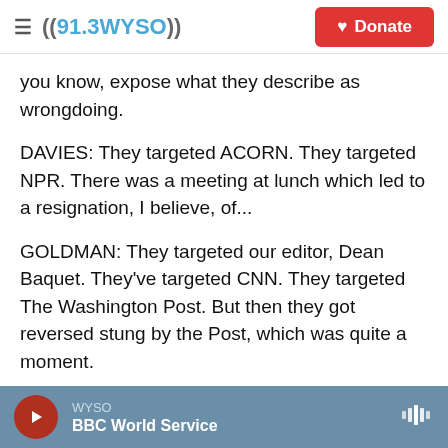((91.3 WYSO)) Donate
you know, expose what they describe as wrongdoing.
DAVIES: They targeted ACORN. They targeted NPR. There was a meeting at lunch which led to a resignation, I believe, of...
GOLDMAN: They targeted our editor, Dean Baquet. They've targeted CNN. They targeted The Washington Post. But then they got reversed stung by the Post, which was quite a moment.
DAVIES: Right. They had a - someone came to the
WYSO BBC World Service